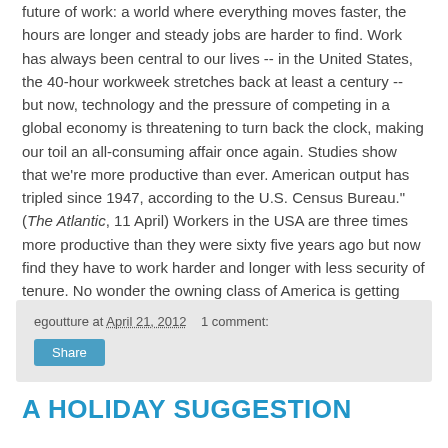future of work: a world where everything moves faster, the hours are longer and steady jobs are harder to find. Work has always been central to our lives -- in the United States, the 40-hour workweek stretches back at least a century -- but now, technology and the pressure of competing in a global economy is threatening to turn back the clock, making our toil an all-consuming affair once again. Studies show that we're more productive than ever. American output has tripled since 1947, according to the U.S. Census Bureau." (The Atlantic, 11 April) Workers in the USA are three times more productive than they were sixty five years ago but now find they have to work harder and longer with less security of tenure. No wonder the owning class of America is getting richer and richer. RD
egoutture at April 21, 2012   1 comment:
A HOLIDAY SUGGESTION